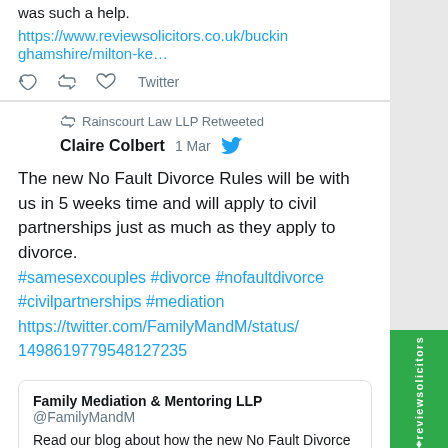was such a help.
https://www.reviewsolicitors.co.uk/buckinghamshire/milton-ke...
Twitter
Rainscourt Law LLP Retweeted
Claire Colbert  1 Mar
The new No Fault Divorce Rules will be with us in 5 weeks time and will apply to civil partnerships just as much as they apply to divorce.
#samesexcouples #divorce #nofaultdivorce #civilpartnerships #mediation https://twitter.com/FamilyMandM/status/1498619779548127235
Family Mediation & Mentoring LLP @FamilyMandM
Read our blog about how the new No Fault Divorce rules also impact civil